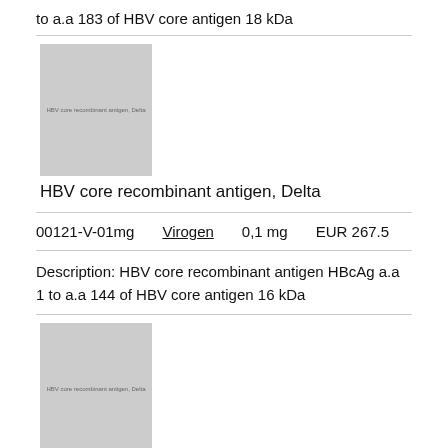to a.a 183 of HBV core antigen 18 kDa
[Figure (photo): Placeholder product image for HBV core recombinant antigen, Delta]
HBV core recombinant antigen, Delta
00121-V-01mg   Virogen   0,1 mg   EUR 267.5
Description: HBV core recombinant antigen HBcAg a.a 1 to a.a 144 of HBV core antigen 16 kDa
[Figure (photo): Placeholder product image for HBV core recombinant antigen, Delta]
HBV core recombinant antigen, Delta